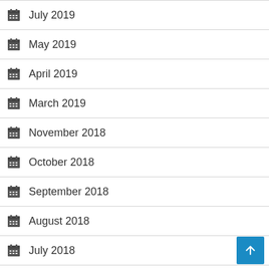July 2019
May 2019
April 2019
March 2019
November 2018
October 2018
September 2018
August 2018
July 2018
June 2018
May 2018
April 2018
February 2018